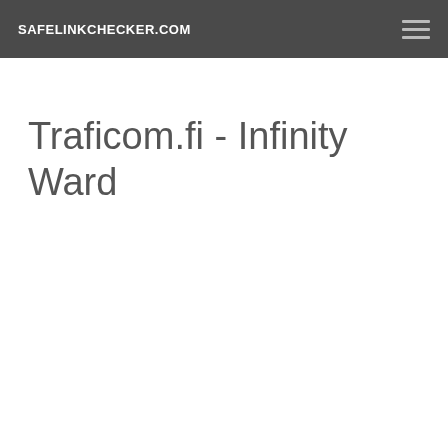SAFELINKCHECKER.COM
Traficom.fi - Infinity Ward